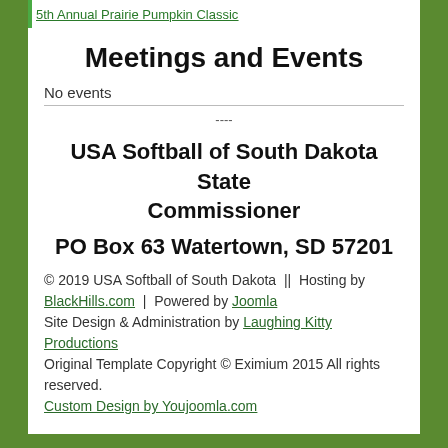5th Annual Prairie Pumpkin Classic
Meetings and Events
No events
----
USA Softball of South Dakota State Commissioner
PO Box 63 Watertown, SD 57201
© 2019 USA Softball of South Dakota  ||  Hosting by BlackHills.com  |  Powered by Joomla
Site Design & Administration by Laughing Kitty Productions
Original Template Copyright © Eximium 2015 All rights reserved.
Custom Design by Youjoomla.com